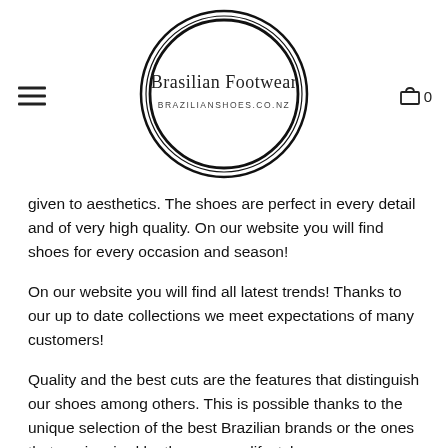[Figure (logo): Brasilian Footwear circular logo with double ring border. Inside reads 'Brasilian Footwear' in serif font and 'BRAZILIANSHOES.CO.NZ' in small caps below.]
given to aesthetics. The shoes are perfect in every detail and of very high quality. On our website you will find shoes for every occasion and season!
On our website you will find all latest trends! Thanks to our up to date collections we meet expectations of many customers!
Quality and the best cuts are the features that distinguish our shoes among others. This is possible thanks to the unique selection of the best Brazilian brands or the ones that are inspired by the summer lifestyle.